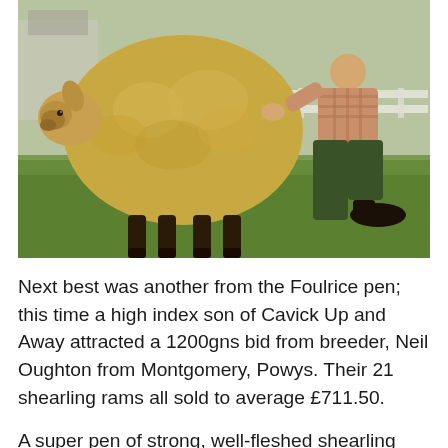[Figure (photo): A large woolly sheep (golden-brown fleece) standing on green grass being presented by a person crouching beside it, wearing a checked shirt and dark green trousers. Agricultural show setting with white fence and buildings in background.]
Next best was another from the Foulrice pen; this time a high index son of Cavick Up and Away attracted a 1200gns bid from breeder, Neil Oughton from Montgomery, Powys.  Their 21 shearling rams all sold to average £711.50.
A super pen of strong, well-fleshed shearling rams from Gwyn and Gail Jones's Springfield flock in Chepstow had terrific trade all from commercial